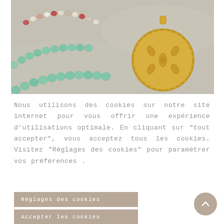[Figure (photo): Close-up photo of colorful beaded necklaces (turquoise/green and multicolor beads) alongside a gold sand dollar pendant on a light grey/concrete surface.]
Nous utilisons des cookies sur notre site internet pour vous offrir une expérience d'utilisations optimale. En cliquant sur "tout accepter", vous acceptez tous les cookies. Visitez "Réglages des cookies" pour paramétrer vos préférences .
Réglages des cookies
Accepter les cookies